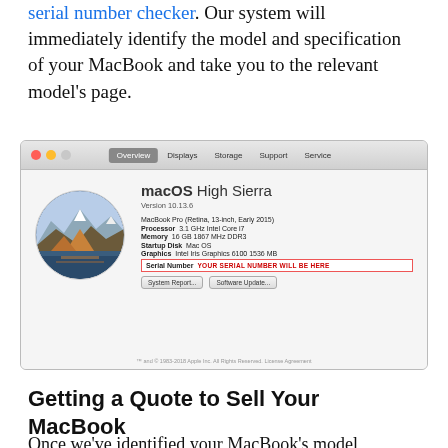serial number checker. Our system will immediately identify the model and specification of your MacBook and take you to the relevant model's page.
[Figure (screenshot): macOS High Sierra About This Mac window showing MacBook Pro (Retina, 13-inch, Early 2015) specs including Processor 3.1 GHz Intel Core i7, Memory 16 GB 1867 MHz DDR3, Startup Disk Mac OS, Graphics Intel Iris Graphics 6100 1536 MB, and a red-bordered Serial Number field with 'YOUR SERIAL NUMBER WILL BE HERE' placeholder. Tabs shown: Overview, Displays, Storage, Support, Service.]
Getting a Quote to Sell Your MacBook
Once we've identified your MacBook's model,